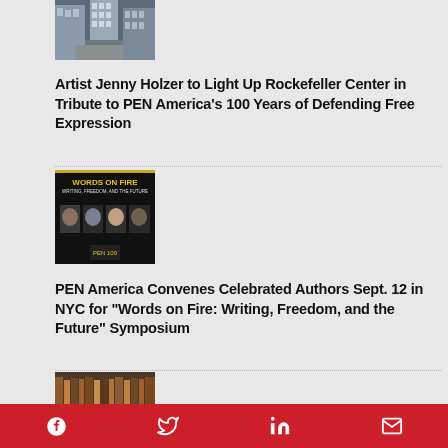[Figure (photo): Photo of Rockefeller Center building corridor between skyscrapers, urban cityscape]
Artist Jenny Holzer to Light Up Rockefeller Center in Tribute to PEN America’s 100 Years of Defending Free Expression
[Figure (photo): Words on Fire: Writing, Freedom, and the Future symposium poster with four speaker portraits on dark background]
PEN America Convenes Celebrated Authors Sept. 12 in NYC for “Words on Fire: Writing, Freedom, and the Future” Symposium
[Figure (photo): Rows of books on shelves, library or bookstore scene]
Facebook Twitter LinkedIn Email